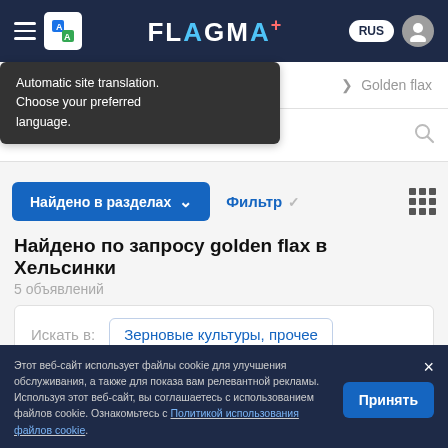[Figure (screenshot): FLAGMA+ website header with hamburger menu, Google Translate icon, FLAGMA+ logo, RUS language selector, and user avatar icon on dark navy background]
Automatic site translation. Choose your preferred language.
Golden flax
golden flax
Найдено в разделах
Фильтр
Найдено по запросу golden flax в Хельсинки
5 объявлений
Искать в:
Зерновые культуры, прочее
Этот веб-сайт использует файлы cookie для улучшения обслуживания, а также для показа вам релевантной рекламы. Используя этот веб-сайт, вы соглашаетесь с использованием файлов cookie. Ознакомьтесь с Политикой использования файлов cookie.
Принять